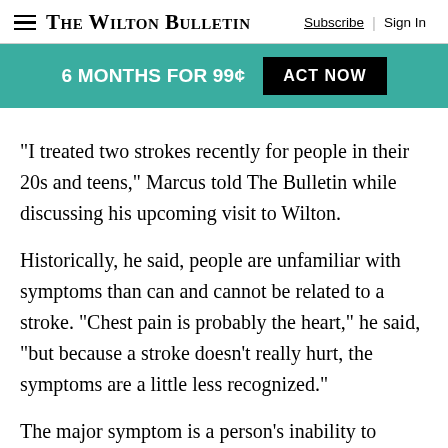The Wilton Bulletin | Subscribe | Sign In
[Figure (infographic): Teal promotional banner with text '6 MONTHS FOR 99¢' and black button 'ACT NOW']
“I treated two strokes recently for people in their 20s and teens,” Marcus told The Bulletin while discussing his upcoming visit to Wilton.
Historically, he said, people are unfamiliar with symptoms than can and cannot be related to a stroke. “Chest pain is probably the heart,” he said, “but because a stroke doesn’t really hurt, the symptoms are a little less recognized.”
The major symptom is a person’s inability to